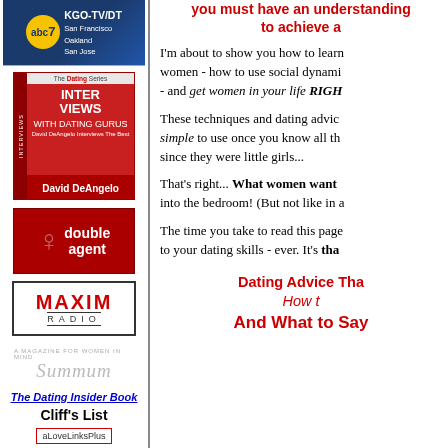[Figure (logo): KGO-TV/DT ABC 7 San Francisco Oakland San Jose logo]
[Figure (illustration): Interviews With Dating Gurus book by David DeAngelo]
[Figure (logo): Double Agent logo with red background and female silhouette]
[Figure (logo): Maxim Radio logo in red letters]
[Figure (logo): Summum magazine logo in gray italic text]
The Dating Insider Book
Cliff's List
aLoveLinksPlus
you must have an understanding to achieve
I'm about to show you how to learn women - how to use social dynamics - and get women in your life RIGHT
These techniques and dating advice simple to use once you know all the since they were little girls...
That's right... What women want into the bedroom! (But not like in a
The time you take to read this page to your dating skills - ever. It's tha
Dating Advice Tha How t And What to Say